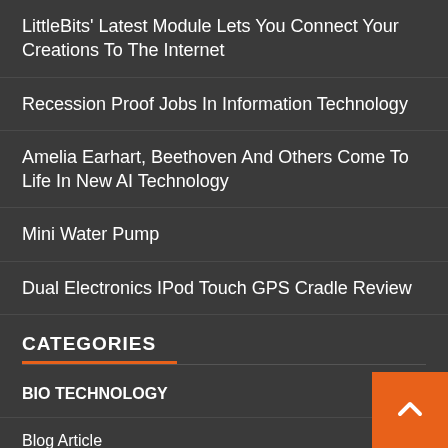LittleBits’ Latest Module Lets You Connect Your Creations To The Internet
Recession Proof Jobs In Information Technology
Amelia Earhart, Beethoven And Others Come To Life In New AI Technology
Mini Water Pump
Dual Electronics IPod Touch GPS Cradle Review
CATEGORIES
BIO TECHNOLOGY
Blog Article
CLOUD TECHNOLOGY